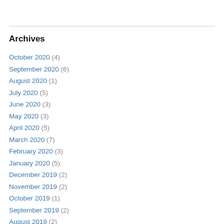Archives
October 2020 (4)
September 2020 (6)
August 2020 (1)
July 2020 (5)
June 2020 (3)
May 2020 (3)
April 2020 (5)
March 2020 (7)
February 2020 (3)
January 2020 (5)
December 2019 (2)
November 2019 (2)
October 2019 (1)
September 2019 (2)
August 2019 (2)